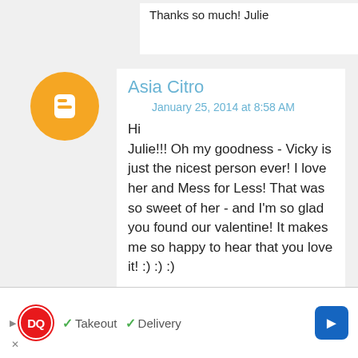Thanks so much! Julie
Asia Citro
January 25, 2014 at 8:58 AM
Hi Julie!!! Oh my goodness - Vicky is just the nicest person ever! I love her and Mess for Less! That was so sweet of her - and I'm so glad you found our valentine! It makes me so happy to hear that you love it! :) :) :)
Reply
[Figure (logo): Dairy Queen advertisement banner with DQ logo, checkmarks for Takeout and Delivery, and a navigation arrow button]